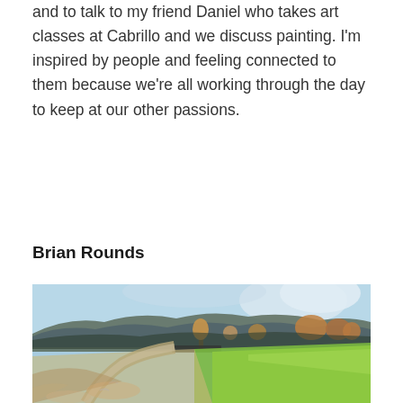and to talk to my friend Daniel who takes art classes at Cabrillo and we discuss painting. I'm inspired by people and feeling connected to them because we're all working through the day to keep at our other passions.
Brian Rounds
[Figure (illustration): An impressionistic oil painting of a rural landscape featuring a winding dirt path or stream in the foreground, lush green fields to the right, autumn-colored trees in the middle ground, rolling hills with dark foliage in the background, and a light blue sky with soft white clouds above.]